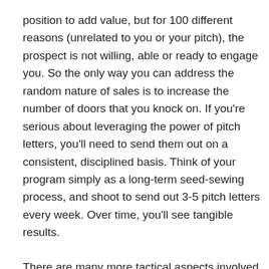position to add value, but for 100 different reasons (unrelated to you or your pitch), the prospect is not willing, able or ready to engage you. So the only way you can address the random nature of sales is to increase the number of doors that you knock on. If you're serious about leveraging the power of pitch letters, you'll need to send them out on a consistent, disciplined basis. Think of your program simply as a long-term seed-sewing process, and shoot to send out 3-5 pitch letters every week. Over time, you'll see tangible results.
There are many more tactical aspects involved in the art of pitch letters – what content to include and avoid, which individual to solicit, what attachments to include, how to monitor and follow-up, etc. – to cover in a single blog post. But simply getting started, and establishing a pitch letter routine are the two most critical steps.